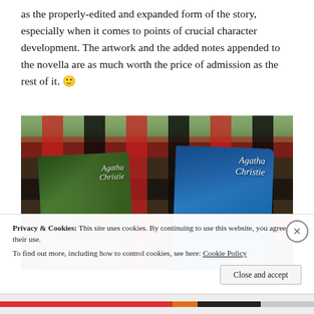as the properly-edited and expanded form of the story, especially when it comes to points of crucial character development. The artwork and the added notes appended to the novella are as much worth the price of admission as the rest of it. 🙂
[Figure (photo): Two Agatha Christie books lying on a red and black plaid blanket on grass outdoors]
Privacy & Cookies: This site uses cookies. By continuing to use this website, you agree to their use.
To find out more, including how to control cookies, see here: Cookie Policy
Close and accept